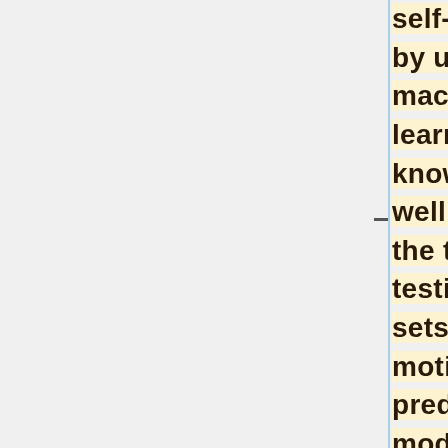self-driving car by using our machine learning knowledge as well as utilizing the training and testing data sets. The motion prediction model will predict the motion of traffic agents around the car, such as cars, cyclists, and pedestrians. We are not sure if we have to classify the agents into